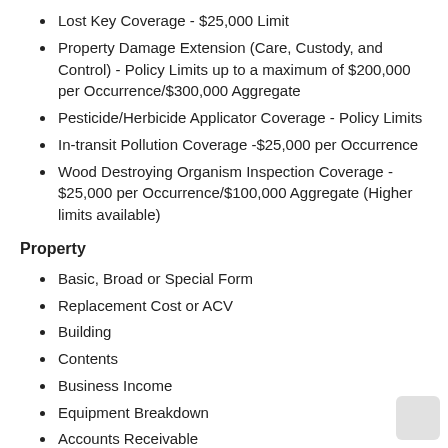Lost Key Coverage - $25,000 Limit
Property Damage Extension (Care, Custody, and Control) - Policy Limits up to a maximum of $200,000 per Occurrence/$300,000 Aggregate
Pesticide/Herbicide Applicator Coverage - Policy Limits
In-transit Pollution Coverage -$25,000 per Occurrence
Wood Destroying Organism Inspection Coverage - $25,000 per Occurrence/$100,000 Aggregate (Higher limits available)
Property
Basic, Broad or Special Form
Replacement Cost or ACV
Building
Contents
Business Income
Equipment Breakdown
Accounts Receivable
Computer Equipment
Contractors Equipment